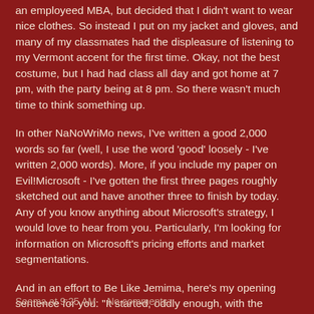an employeed MBA, but decided that I didn't want to wear nice clothes. So instead I put on my jacket and gloves, and many of my classmates had the displeasure of listening to my Vermont accent for the first time. Okay, not the best costume, but I had had class all day and got home at 7 pm, with the party being at 8 pm. So there wasn't much time to think something up.
In other NaNoWriMo news, I've written a good 2,000 words so far (well, I use the word 'good' loosely - I've written 2,000 words). More, if you include my paper on Evil!Microsoft - I've gotten the first three pages roughly sketched out and have another three to finish by today. Any of you know anything about Microsoft's strategy, I would love to hear from you. Particularly, I'm looking for information on Microsoft's pricing efforts and market segmentations.
And in an effort to Be Like Jemima, here's my opening sentence for you: "It started, oddly enough, with the Christmas tree in the center of Towne Mall."
Seema at 9:25 AM     No comments: